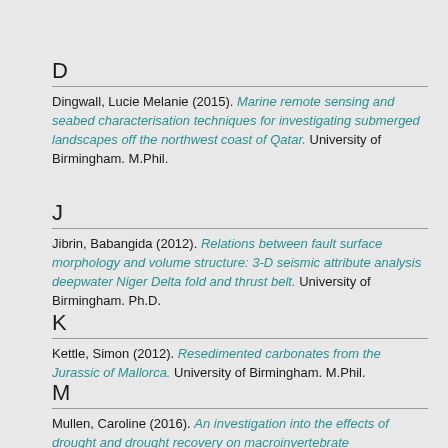D
Dingwall, Lucie Melanie (2015). Marine remote sensing and seabed characterisation techniques for investigating submerged landscapes off the northwest coast of Qatar. University of Birmingham. M.Phil.
J
Jibrin, Babangida (2012). Relations between fault surface morphology and volume structure: 3-D seismic attribute analysis deepwater Niger Delta fold and thrust belt. University of Birmingham. Ph.D.
K
Kettle, Simon (2012). Resedimented carbonates from the Jurassic of Mallorca. University of Birmingham. M.Phil.
M
Mullen, Caroline (2016). An investigation into the effects of drought and drought recovery on macroinvertebrate communities. University of Birmingham. Ph.D.